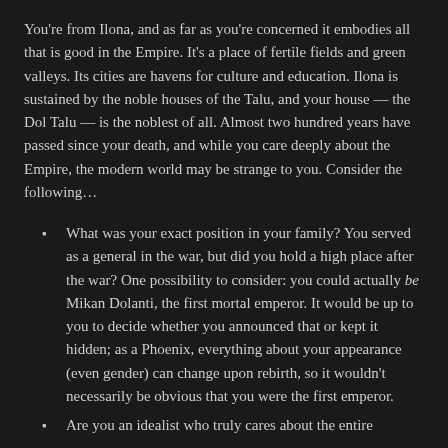You're from Ilona, and as far as you're concerned it embodies all that is good in the Empire. It's a place of fertile fields and green valleys. Its cities are havens for culture and education. Ilona is sustained by the noble houses of the Talu, and your house — the Dol Talu — is the noblest of all. Almost two hundred years have passed since your death, and while you care deeply about the Empire, the modern world may be strange to you. Consider the following…
What was your exact position in your family? You served as a general in the war, but did you hold a high place after the war? One possibility to consider: you could actually be Mikan Dolanti, the first mortal emperor. It would be up to you to decide whether you announced that or kept it hidden; as a Phoenix, everything about your appearance (even gender) can change upon rebirth, so it wouldn't necessarily be obvious that you were the first emperor.
Are you an idealist who truly cares about the entire